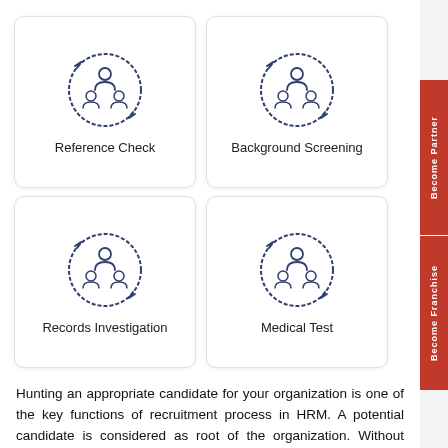[Figure (illustration): Card with people/group icon and circular arrows, labeled Reference Check]
[Figure (illustration): Card with people/group icon and circular arrows, labeled Background Screening]
[Figure (illustration): Card with people/group icon and circular arrows, labeled Records Investigation]
[Figure (illustration): Card with people/group icon and circular arrows, labeled Medical Test]
Hunting an appropriate candidate for your organization is one of the key functions of recruitment process in HRM. A potential candidate is considered as root of the organization. Without skilled employees, any organization can't be